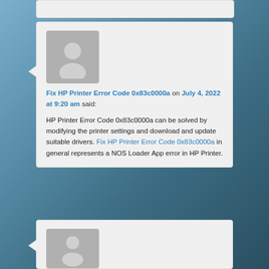[Figure (screenshot): Partial top of a comment card (cropped)]
Fix HP Printer Error Code 0x83c0000a on July 4, 2022 at 9:20 am said:
HP Printer Error Code 0x83c0000a can be solved by modifying the printer settings and download and update suitable drivers. Fix HP Printer Error Code 0x83c0000a in general represents a NOS Loader App error in HP Printer.
[Figure (screenshot): Partial bottom comment card with avatar (cropped)]